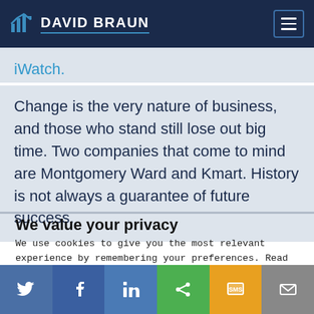DAVID BRAUN
iWatch.
Change is the very nature of business, and those who stand still lose out big time. Two companies that come to mind are Montgomery Ward and Kmart. History is not always a guarantee of future success.
We value your privacy
We use cookies to give you the most relevant experience by remembering your preferences. Read our Cookie Policy. Click the Cookie Settings button to see what cookies are used. Read our privacy statement
Do not sell my personal information.